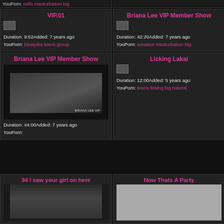YouPorn: milfs masturbation big
VIP.01
[Figure (photo): Small thumbnail placeholder]
Duration: 9:52Added: 7 years ago YouPorn: blowjobs teens group
Briana Lee VIP Member Show
[Figure (photo): Small thumbnail placeholder]
Duration: 42:20Added: 7 years ago YouPorn: amateur masturbation big
Briana Lee VIP Member Show
[Figure (photo): Video thumbnail of person lying down]
Duration: 44:00Added: 7 years ago YouPorn:
Licking Lakai
[Figure (photo): Small thumbnail placeholder]
Duration: 12:00Added: 5 years ago YouPorn: teens licking big natural
34 I saw your girl on here
[Figure (photo): Video thumbnail]
Now Thats A Party
[Figure (photo): Gray thumbnail placeholder]